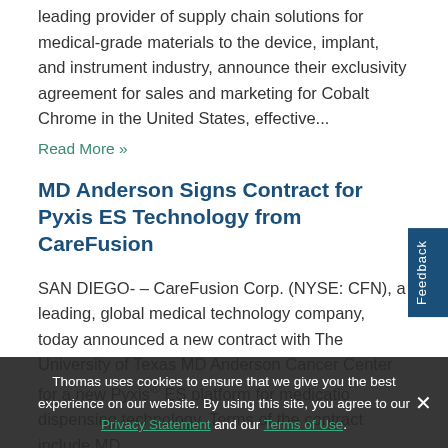leading provider of supply chain solutions for medical-grade materials to the device, implant, and instrument industry, announce their exclusivity agreement for sales and marketing for Cobalt Chrome in the United States, effective...
Read More »
MD Anderson Signs Contract for Pyxis ES Technology from CareFusion
SAN DIEGO- – CareFusion Corp. (NYSE: CFN), a leading, global medical technology company, today announced a new contract with The University of Texas MD Anderson Cancer Center for a new Pyxis® ES platform for medication dispensing technology. Terms of the contract include MD
Thomas uses cookies to ensure that we give you the best experience on our website. By using this site, you agree to our Privacy Statement and our Terms of Use.